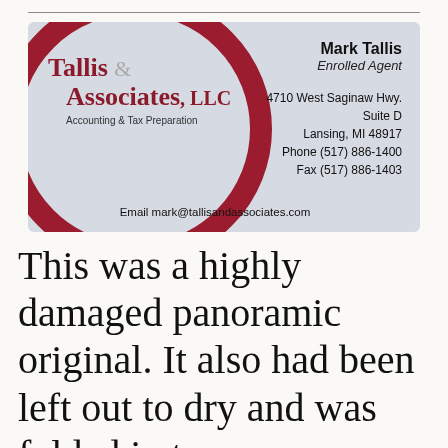[Figure (other): Business card for Tallis & Associates, LLC - Accounting & Tax Preparation. Mark Tallis, Enrolled Agent. 4710 West Saginaw Hwy., Suite D, Lansing, MI 48917. Phone (517) 886-1400. Fax (517) 886-1403. Email mark@tallisandassociates.com]
This was a highly damaged panoramic original. It also had been left out to dry and was folded in two